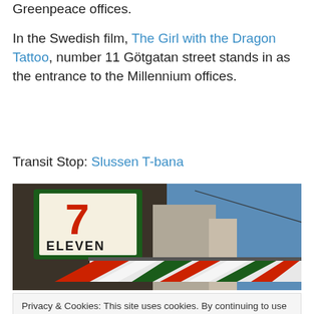Greenpeace offices.
In the Swedish film, The Girl with the Dragon Tattoo, number 11 Götgatan street stands in as the entrance to the Millennium offices.
Transit Stop: Slussen T-bana
[Figure (photo): 7-Eleven store sign and striped awning with a building and blue sky in the background, photographed at an angle.]
Privacy & Cookies: This site uses cookies. By continuing to use this website, you agree to their use. To find out more, including how to control cookies, see here: Cookie Policy
[Figure (photo): Partial view of a nighttime street scene with colorful lights, bottom strip of image.]